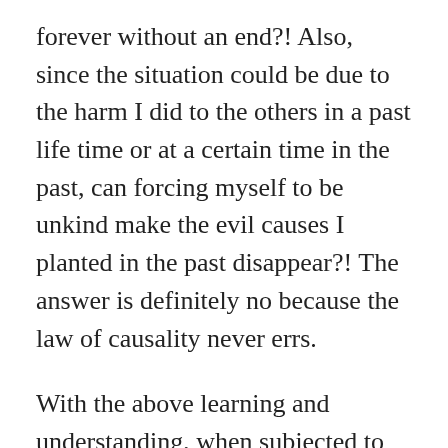forever without an end?! Also, since the situation could be due to the harm I did to the others in a past life time or at a certain time in the past, can forcing myself to be unkind make the evil causes I planted in the past disappear?! The answer is definitely no because the law of causality never errs.
With the above learning and understanding, when subjected to insult, bullying, or unfair treatment, I now know to beseech Buddhas and Bodhisattvas to bless this person with happiness, joy, and absence of afflictions! I can act even better toward this person and avoid hostile